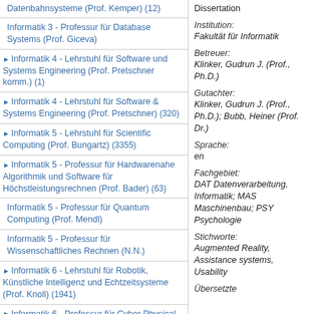Datenbahnsysteme (Prof. Kemper) (12) [partial, top]
Informatik 3 - Professur für Database Systems (Prof. Giceva)
Informatik 4 - Lehrstuhl für Software und Systems Engineering (Prof. Pretschner komm.) (1)
Informatik 4 - Lehrstuhl für Software & Systems Engineering (Prof. Pretschner) (320)
Informatik 5 - Lehrstuhl für Scientific Computing (Prof. Bungartz) (3355)
Informatik 5 - Professur für Hardwarenahe Algorithmik und Software für Höchstleistungsrechnen (Prof. Bader) (63)
Informatik 5 - Professur für Quantum Computing (Prof. Mendl)
Informatik 5 - Professur für Wissenschaftliches Rechnen (N.N.)
Informatik 6 - Lehrstuhl für Robotik, Künstliche Intelligenz und Echtzeitsysteme (Prof. Knoll) (1941)
Informatik 6 - Professur für Cyber Physical Systems (Prof. Althoff) (237)
Informatik 6 - Professur für Biomimetische Robotersysteme und Maschinelles Lernen (N.N.)
Dissertation
Institution: Fakultät für Informatik
Betreuer: Klinker, Gudrun J. (Prof., Ph.D.)
Gutachter: Klinker, Gudrun J. (Prof., Ph.D.); Bubb, Heiner (Prof. Dr.)
Sprache: en
Fachgebiet: DAT Datenverarbeitung, Informatik; MAS Maschinenbau; PSY Psychologie
Stichworte: Augmented Reality, Assistance systems, Usability
Übersetzte